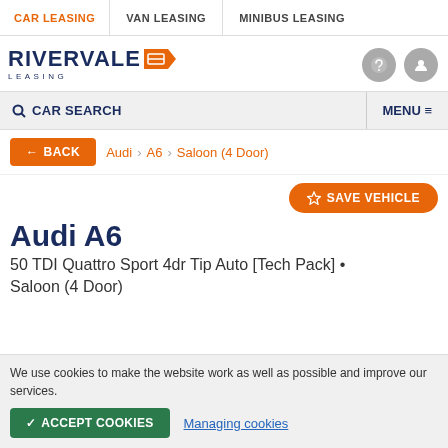CAR LEASING | VAN LEASING | MINIBUS LEASING
[Figure (logo): Rivervale Leasing logo with orange arrow badge]
CAR SEARCH | MENU
← BACK   Audi > A6 > Saloon (4 Door)
SAVE VEHICLE
Audi A6
50 TDI Quattro Sport 4dr Tip Auto [Tech Pack] • Saloon (4 Door)
We use cookies to make the website work as well as possible and improve our services.
✓ ACCEPT COOKIES   Managing cookies